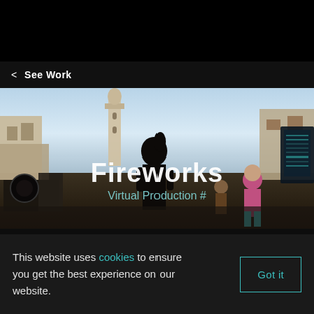< See Work
[Figure (photo): A film production scene showing a person silhouetted against a Middle Eastern cityscape with a mosque minaret, buildings, and actors in the background. Text overlays read 'Fireworks' and 'Virtual Production #'.]
This website uses cookies to ensure you get the best experience on our website.
Got it